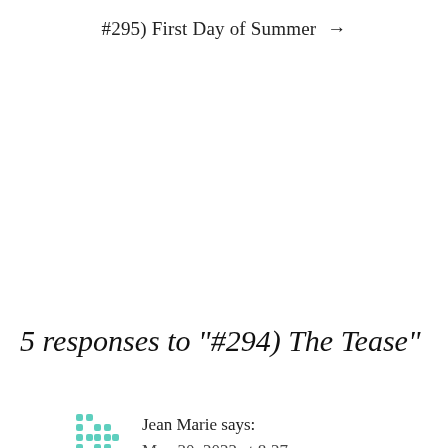#295) First Day of Summer →
5 responses to “#294) The Tease”
Jean Marie says:
May 30, 2022 at 8:27 am
Springing out of what I